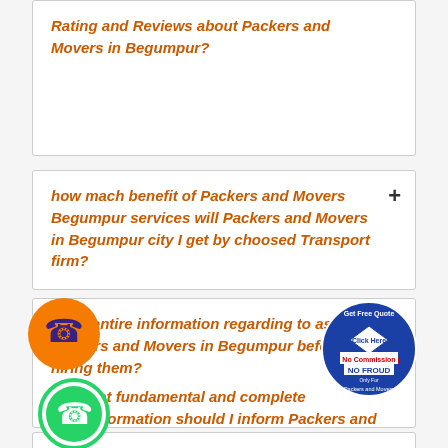Rating and Reviews about Packers and Movers in Begumpur?
how mach benefit of Packers and Movers Begumpur services will Packers and Movers in Begumpur city I get by choosed Transport firm?
What entire information regarding to ask Packers and Movers in Begumpur before hiring them?
What fundamental and complete information should I inform Packers and Movers Begumpur organization on first-time discussion?
[Figure (illustration): Orange circle phone call icon]
[Figure (illustration): Green WhatsApp phone icon]
[Figure (logo): Get Free Quote badge - blue circular badge with Click Here, No Commission, NO FROUD text for Packers and Movers]